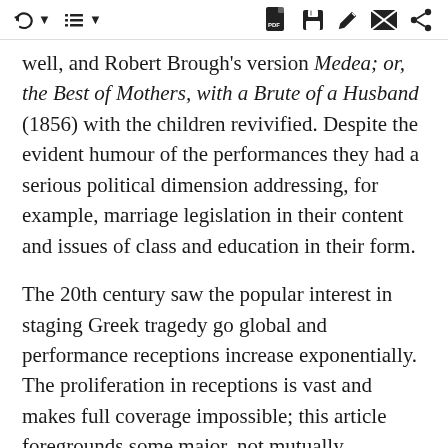toolbar icons: back, list, PDF, save, edit, mail, share
well, and Robert Brough's version Medea; or, the Best of Mothers, with a Brute of a Husband (1856) with the children revivified. Despite the evident humour of the performances they had a serious political dimension addressing, for example, marriage legislation in their content and issues of class and education in their form.
The 20th century saw the popular interest in staging Greek tragedy go global and performance receptions increase exponentially. The proliferation in receptions is vast and makes full coverage impossible; this article foregrounds some major, not mutually exclusive, 20th-century trends, including modernism, the avant-garde, and interculturalism.